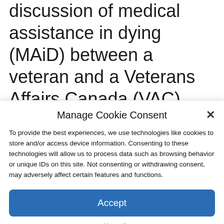discussion of medical assistance in dying (MAiD) between a veteran and a Veterans Affairs Canada (VAC) employee is “completely unacceptable.” Speaking in Stephenville, NL, on Tuesday during a trip with German Chancellor Olaf Scholz, Trudeau noted an investigation is underway into the incident, which has sparked anger toward
Manage Cookie Consent
To provide the best experiences, we use technologies like cookies to store and/or access device information. Consenting to these technologies will allow us to process data such as browsing behavior or unique IDs on this site. Not consenting or withdrawing consent, may adversely affect certain features and functions.
Accept
Cookie Policy